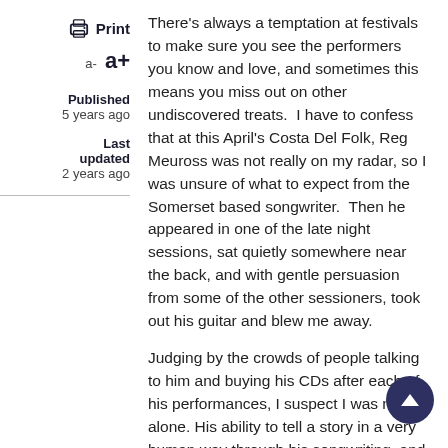Print | a- a+
Published
5 years ago
Last updated
2 years ago
There's always a temptation at festivals to make sure you see the performers you know and love, and sometimes this means you miss out on other undiscovered treats.  I have to confess that at this April's Costa Del Folk, Reg Meuross was not really on my radar, so I was unsure of what to expect from the Somerset based songwriter.  Then he appeared in one of the late night sessions, sat quietly somewhere near the back, and with gentle persuasion from some of the other sessioners, took out his guitar and blew me away.
Judging by the crowds of people talking to him and buying his CDs after each of his performances, I suspect I was not alone. His ability to tell a story in a very human way through his songwriting, and his honest and